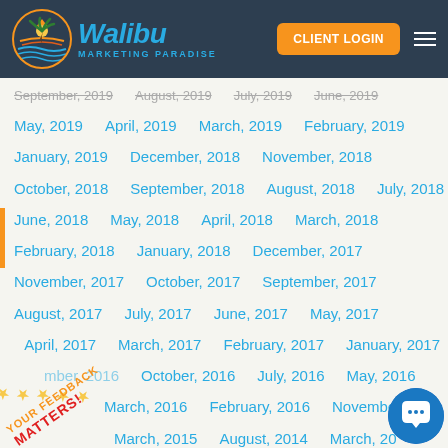[Figure (logo): Walibu Marketing Paradise logo with palm tree circle graphic and CLIENT LOGIN button and hamburger menu in dark blue header]
September, 2019  August, 2019  July, 2019  June, 2019
May, 2019  April, 2019  March, 2019  February, 2019
January, 2019  December, 2018  November, 2018
October, 2018  September, 2018  August, 2018  July, 2018
June, 2018  May, 2018  April, 2018  March, 2018
February, 2018  January, 2018  December, 2017
November, 2017  October, 2017  September, 2017
August, 2017  July, 2017  June, 2017  May, 2017
April, 2017  March, 2017  February, 2017  January, 2017
...mber, 2016  October, 2016  July, 2016  May, 2016
...March, 2016  February, 2016  November...
March, 2015  August, 2014  March, 20...